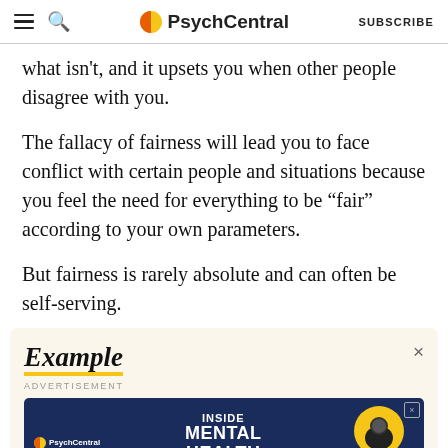PsychCentral | SUBSCRIBE
what isn't, and it upsets you when other people disagree with you.
The fallacy of fairness will lead you to face conflict with certain people and situations because you feel the need for everything to be "fair" according to your own parameters.
But fairness is rarely absolute and can often be self-serving.
[Figure (screenshot): Advertisement banner showing 'Example' text with PsychCentral 'Inside Mental Health Podcast' ad below]